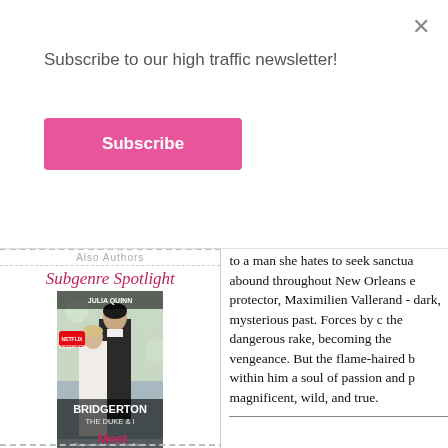Subscribe to our high traffic newsletter!
Subscribe
Also Authors
Subgenre Spotlight
[Figure (illustration): Book cover: Bridgerton The Duke & I by Julia Quinn, Netflix tie-in edition, showing a man in dark coat and a woman in white against flowery background]
Click Here To Learn More
our featured Authors
Meet
to a man she hates to seek sanctua abound throughout New Orleans e protector, Maximilien Vallerand - dark, mysterious past. Forces by c the dangerous rake, becoming the vengeance. But the flame-haired b within him a soul of passion and p magnificent, wild, and true.